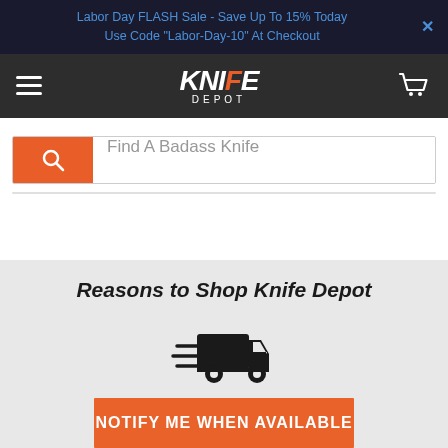Labor Day FLASH Sale - Save Up To 15% Today
Use Code "Labor-Day-10" At Checkout
[Figure (logo): Knife Depot logo with hamburger menu and cart icon on dark navigation bar]
[Figure (infographic): Search bar with orange search button and placeholder text 'Find A Badass Knife']
Reasons to Shop Knife Depot
[Figure (illustration): Fast delivery truck icon in black]
FREE SHIPPING OVER $99
You read that right, free shipping on all orders over $99. Our products oft... ...you'll get
NOTIFY ME WHEN AVAILABLE